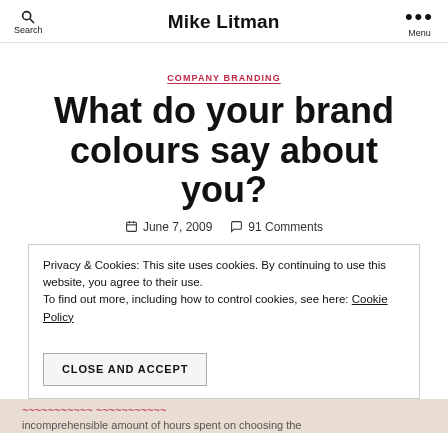Search | Mike Litman | Menu
COMPANY BRANDING
What do your brand colours say about you?
June 7, 2009   91 Comments
Privacy & Cookies: This site uses cookies. By continuing to use this website, you agree to their use.
To find out more, including how to control cookies, see here: Cookie Policy
CLOSE AND ACCEPT
incomprehensible amount of hours spent on choosing the